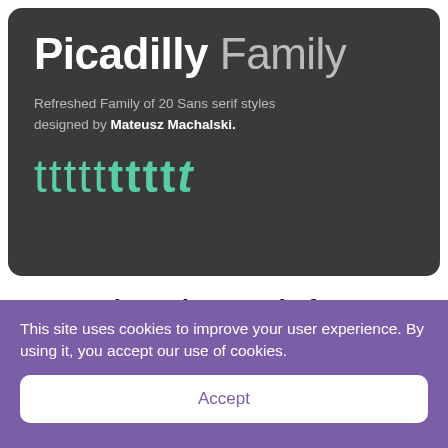[Figure (illustration): Dark rounded rectangle hero card showing 'Picadilly Family' heading, subtitle 'Refreshed Family of 20 Sans serif styles designed by Mateusz Machalski.', and a row of 10 letter 't' glyphs in increasing weight in teal/mint color on dark background.]
20 premium clean style fonts!
The family consists of 10 styles with regular & italic...
This site uses cookies to improve your user experience. By using it, you accept our use of cookies.
Accept